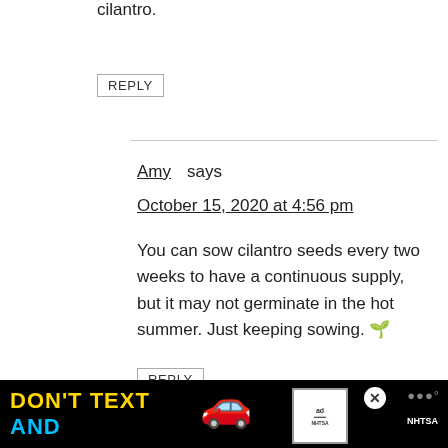cilantro.
REPLY
Amy says
October 15, 2020 at 4:56 pm
You can sow cilantro seeds every two weeks to have a continuous supply, but it may not germinate in the hot summer. Just keeping sowing. 🌱
REPLY
Barbara says
May 3, 2022 at 5:49 pm
I have cilantro that's flowered, and produced seeds. Some are faint pink (like what I bought), while others are
[Figure (other): Advertisement banner: DON'T TEXT AND (drive) with car emoji, ad badge, NHTSA logo, close button]